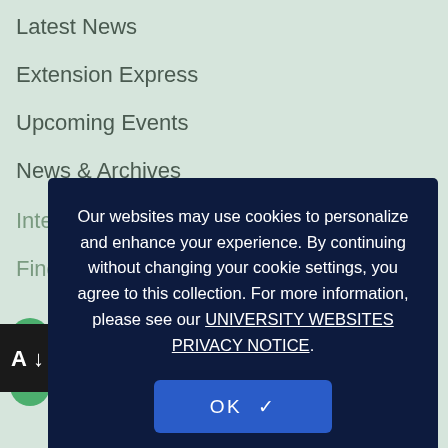Latest News
Extension Express
Upcoming Events
News & Archives
Internship Opportunities
Find a Specialist
Our websites may use cookies to personalize and enhance your experience. By continuing without changing your cookie settings, you agree to this collection. For more information, please see our UNIVERSITY WEBSITES PRIVACY NOTICE.
OK ✓